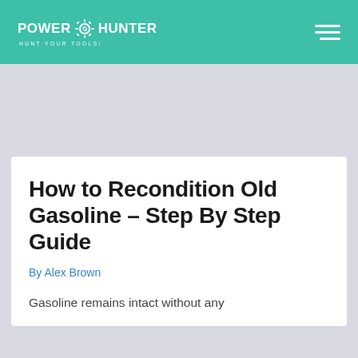POWER HUNTER — HUNT YOUR TOOLS!
How to Recondition Old Gasoline – Step By Step Guide
By Alex Brown
Gasoline remains intact without any